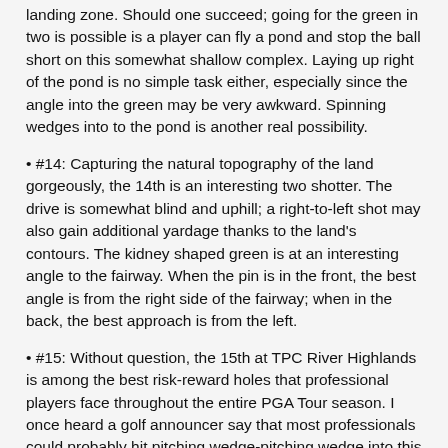landing zone. Should one succeed; going for the green in two is possible is a player can fly a pond and stop the ball short on this somewhat shallow complex. Laying up right of the pond is no simple task either, especially since the angle into the green may be very awkward. Spinning wedges into to the pond is another real possibility.
• #14: Capturing the natural topography of the land gorgeously, the 14th is an interesting two shotter. The drive is somewhat blind and uphill; a right-to-left shot may also gain additional yardage thanks to the land's contours. The kidney shaped green is at an interesting angle to the fairway. When the pin is in the front, the best angle is from the right side of the fairway; when in the back, the best approach is from the left.
• #15: Without question, the 15th at TPC River Highlands is among the best risk-reward holes that professional players face throughout the entire PGA Tour season. I once heard a golf announcer say that most professionals could probably hit pitching wedge-pitching wedge into this hole and almost guarantee themselves a birdie, but I believe that assessment is inaccurate. Trouble lurks on virtually every inch of this drivable par four. In reality, there really is no room to lay-up as bunkers pinch this fairway into. Going for the green, or playing closely with a metal are the most common routes, though both bring the